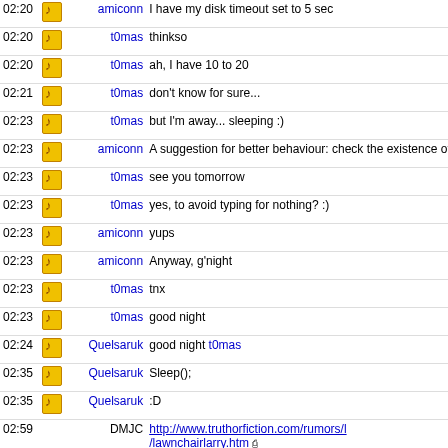| time | icon | nick | message |
| --- | --- | --- | --- |
| 02:20 |  | amiconn | I have my disk timeout set to 5 sec |
| 02:20 |  | t0mas | thinkso |
| 02:20 |  | t0mas | ah, I have 10 to 20 |
| 02:21 |  | t0mas | don't know for sure... |
| 02:23 |  | t0mas | but I'm away... sleeping :) |
| 02:23 |  | amiconn | A suggestion for better behaviour: check the existence of the .index and the .desc before opening the input screen |
| 02:23 |  | t0mas | see you tomorrow |
| 02:23 |  | t0mas | yes, to avoid typing for nothing? :) |
| 02:23 |  | amiconn | yups |
| 02:23 |  | amiconn | Anyway, g'night |
| 02:23 |  | t0mas | tnx |
| 02:23 |  | t0mas | good night |
| 02:24 |  | Quelsaruk | good night t0mas |
| 02:35 |  | Quelsaruk | Sleep(); |
| 02:35 |  | Quelsaruk | :D |
| 02:59 |  | DMJC | http://www.truthorfiction.com/rumors/l/lawnchairlarry.htm |
| 03:00 |  |  |  |
| 04:00 |  |  |  |
| 05:00 |  |  |  |
| 06:00 |  |  |  |
| 07:00 |  |  |  |
| 08:00 |  |  |  |